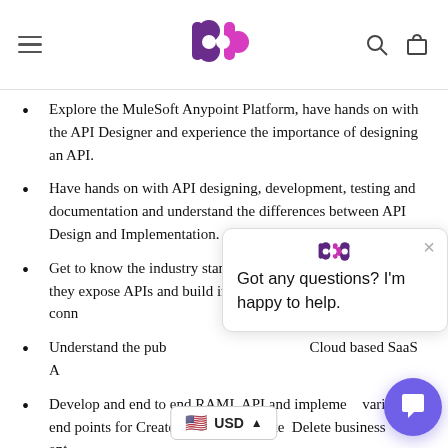BPB Publications header with logo, hamburger menu, search and cart icons
Explore the MuleSoft Anypoint Platform, have hands on with the API Designer and experience the importance of designing an API.
Have hands on with API designing, development, testing and documentation and understand the differences between API Design and Implementation.
Get to know the industry standard SaaS applications, the way they expose APIs and build integrations using MuleSoft connectors.
Understand the publishing and subscribing Cloud based SaaS APIs.
Develop and end to end RAML API and implement various end points for Create, Retrieve, Update, Delete business entities.